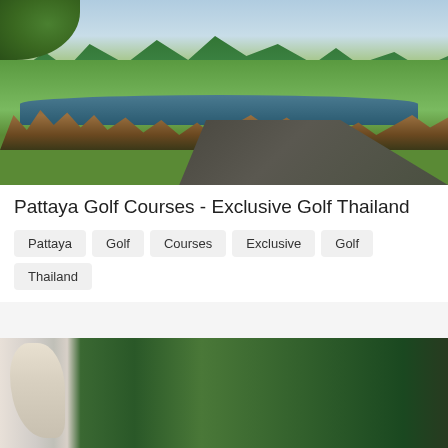[Figure (photo): Golf course photo showing green fairway with trees in background, water hazard and reed grasses in middle ground, winding dark path, and leafy branch in foreground top-left corner]
Pattaya Golf Courses - Exclusive Golf Thailand
Pattaya
Golf
Courses
Exclusive
Golf
Thailand
[Figure (photo): Partially visible photo at bottom of page showing a white statue or sculpture on left side with dense green tree canopy filling the rest of the frame]